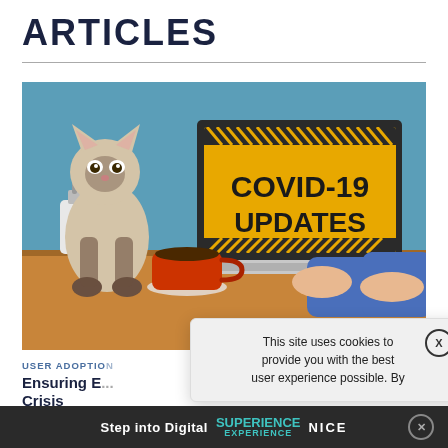ARTICLES
[Figure (illustration): Illustration of a person typing on a laptop showing 'COVID-19 UPDATES' on screen, with a Siamese cat, a red coffee mug, and hand sanitizer on a wooden desk, blue background.]
USER ADOPTION
Ensuring E... VID-19 Crisis
Jason Vi...
When en... that's available to th... lfsite while
This site uses cookies to provide you with the best user experience possible. By
Step into Digital SUPERIENCE EXPERIENCE NICE